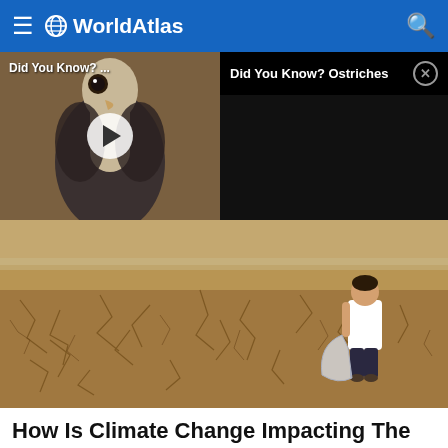WorldAtlas
[Figure (screenshot): Video thumbnail showing an ostrich face with play button overlay, labeled 'Did You Know? ...' on the left. Right side shows a dark panel with 'Did You Know? Ostriches' text and a close button.]
[Figure (photo): A child in white shirt standing on cracked, dry earth in a barren drought landscape, holding a large plastic bag.]
How Is Climate Change Impacting The Water e?